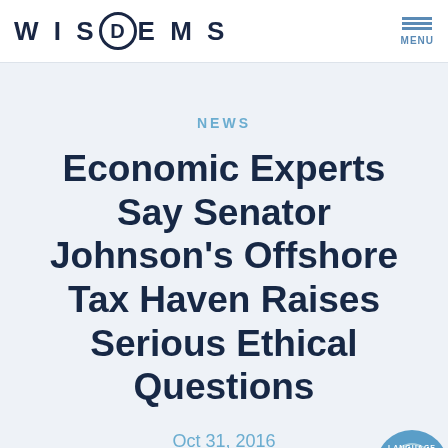WISDEMS — MENU
NEWS
Economic Experts Say Senator Johnson's Offshore Tax Haven Raises Serious Ethical Questions
Oct 31, 2016